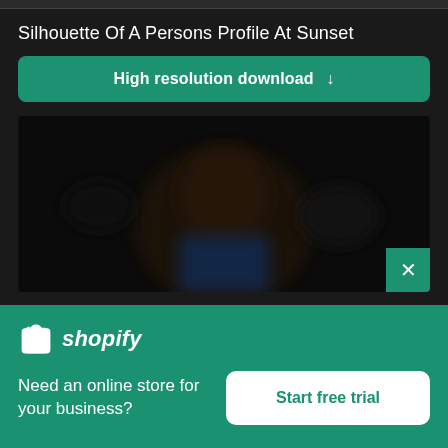Silhouette Of A Persons Profile At Sunset
High resolution download ↓
[Figure (photo): Blurred dark photo showing a person's face/silhouette, obscured for preview purposes]
[Figure (logo): Shopify logo with shopping bag icon and italic 'shopify' text]
Need an online store for your business?
Start free trial